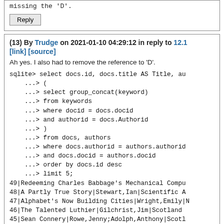missing the 'D'.
Reply
(13) By Trudge on 2021-01-10 04:29:12 in reply to 12.1 [link] [source]
Ah yes. I also had to remove the reference to 'D'.
sqlite> select docs.id, docs.title AS Title, au
    ...> (
    ...> select group_concat(keyword)
    ...> from keywords
    ...> where docid = docs.docid
    ...> and authorid = docs.Authorid
    ...> )
    ...> from docs, authors
    ...> where docs.authorid = authors.authorid
    ...> and docs.docid = authors.docid
    ...> order by docs.id desc
    ...> limit 5;
49|Redeeming Charles Babbage's Mechanical Compu
48|A Partly True Story|Stewart,Ian|Scientific A
47|Alphabet's Now Building Cities|Wright,Emily|N
46|The Talented Luthier|Gilchrist,Jim|Scotland  
45|Sean Connery|Rowe,Jenny;Adolph,Anthony|Scotl